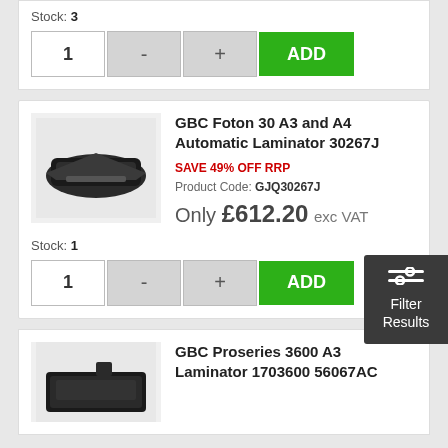Stock: 3
1 - + ADD
GBC Foton 30 A3 and A4 Automatic Laminator 30267J
SAVE 49% OFF RRP
Product Code: GJQ30267J
Only £612.20 exc VAT
Stock: 1
1 - + ADD
GBC Proseries 3600 A3 Laminator 1703600 56067AC